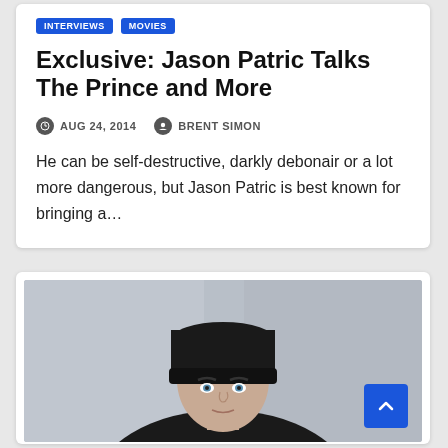INTERVIEWS  MOVIES
Exclusive: Jason Patric Talks The Prince and More
AUG 24, 2014   BRENT SIMON
He can be self-destructive, darkly debonair or a lot more dangerous, but Jason Patric is best known for bringing a...
[Figure (photo): Photo of Jason Patric wearing a black beanie hat, looking at camera with a blurred background]